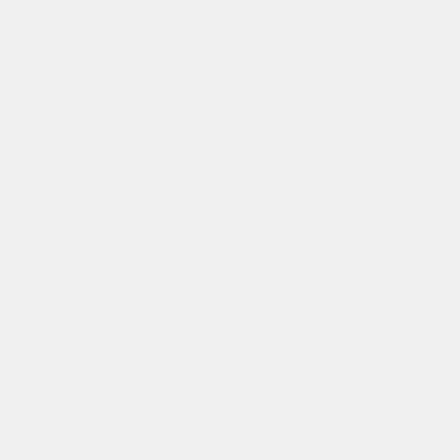versions of [http://sourceforge.net/projects/boost/files/boost/1.44.0/ Boost C++ libraries] and [http://sourceforge.net/projects/boost/files/boost-jam/3.1.18/boost-jam-3.1.18-1-ntx86.zip/download Boost-jam], then unzip both to "c:\dev"